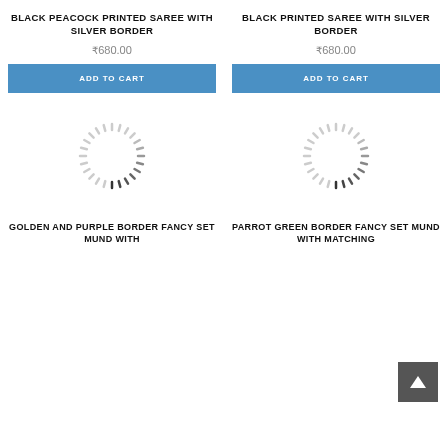BLACK PEACOCK PRINTED SAREE WITH SILVER BORDER
₹680.00
ADD TO CART
BLACK PRINTED SAREE WITH SILVER BORDER
₹680.00
ADD TO CART
[Figure (illustration): Loading spinner graphic (circular dashed ring)]
GOLDEN AND PURPLE BORDER FANCY SET MUND WITH
[Figure (illustration): Loading spinner graphic (circular dashed ring)]
PARROT GREEN BORDER FANCY SET MUND WITH MATCHING